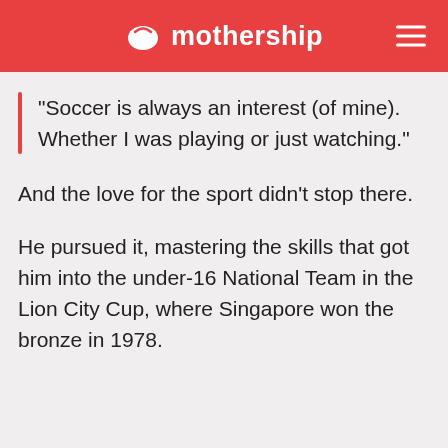mothership
“Soccer is always an interest (of mine). Whether I was playing or just watching.”
And the love for the sport didn’t stop there.
He pursued it, mastering the skills that got him into the under-16 National Team in the Lion City Cup, where Singapore won the bronze in 1978.